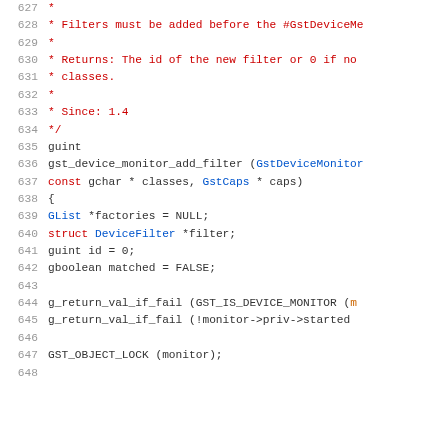Source code listing lines 627-648, showing C code for gst_device_monitor_add_filter function with comments and variable declarations.